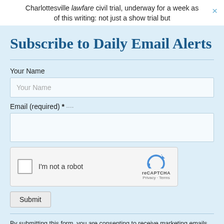Charlottesville lawfare civil trial, underway for a week as of this writing: not just a show trial but
Subscribe to Daily Email Alerts
Your Name
Your Name
Email (required) *
[Figure (other): reCAPTCHA widget with checkbox labeled I'm not a robot, reCAPTCHA logo, Privacy and Terms links]
Submit
By submitting this form, you are consenting to receive marketing emails from: News With Views, P.O. Box 990, Spring Branch, TX, 78070-9998,